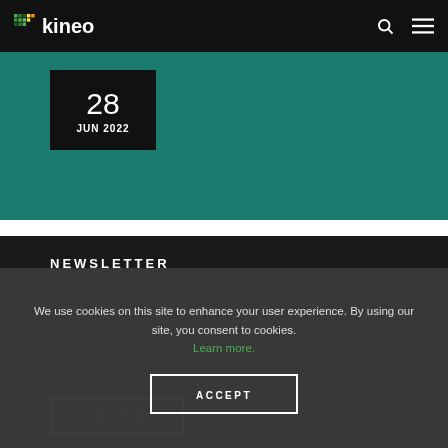kineo
[Figure (screenshot): Teal/green banner background area with a black date box showing '28 JUN 2022']
28 JUN 2022
NEWSLETTER
We use cookies on this site to enhance your user experience. By using our site, you consent to cookies. Learn more.
ACCEPT
SUBSCRIBE